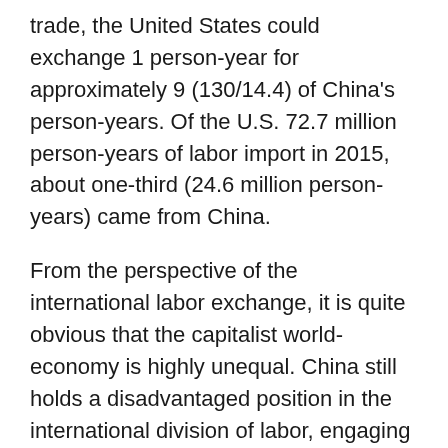trade, the United States could exchange 1 person-year for approximately 9 (130/14.4) of China's person-years. Of the U.S. 72.7 million person-years of labor import in 2015, about one-third (24.6 million person-years) came from China.
From the perspective of the international labor exchange, it is quite obvious that the capitalist world-economy is highly unequal. China still holds a disadvantaged position in the international division of labor, engaging in largely periphery-like activities and supplying massive labor time to the Global North. The United States clearly benefits from its quasi-monopolies of core-like activities. Two examples—the global IC industry and the well-known Apple value chain—suffice to illustrate this point. For the semiconductor value chain, half of the industry's total value added occurs at the design stage, where the United States dominates. The stage of assembly,